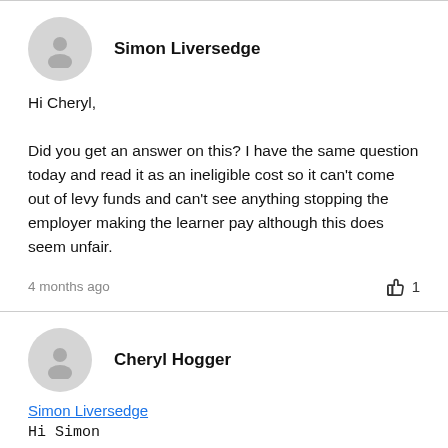Simon Liversedge
Hi Cheryl,

Did you get an answer on this? I have the same question today and read it as an ineligible cost so it can't come out of levy funds and can't see anything stopping the employer making the learner pay although this does seem unfair.
4 months ago
1
Cheryl Hogger
Simon Liversedge
Hi Simon
Please see the below response I got from the AS